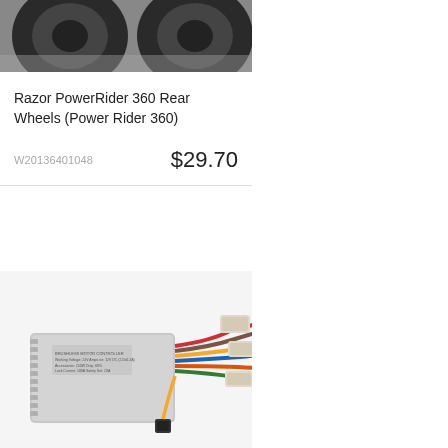[Figure (photo): Top portion of two dark/black wheels on a gray background, partially cropped]
Razor PowerRider 360 Rear Wheels (Power Rider 360)
W20136401048
$29.70
[Figure (photo): An electronic speed controller (gray metal box) with multiple colored wires and connectors attached, on a white background]